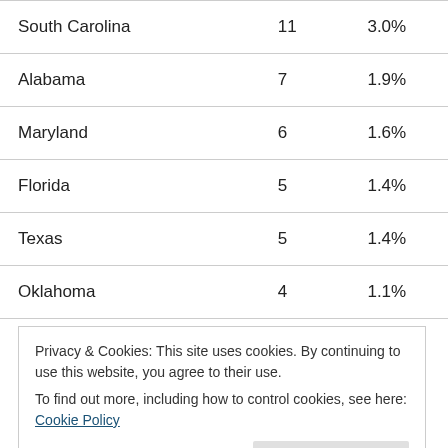| State | Count | Percentage |
| --- | --- | --- |
| South Carolina | 11 | 3.0% |
| Alabama | 7 | 1.9% |
| Maryland | 6 | 1.6% |
| Florida | 5 | 1.4% |
| Texas | 5 | 1.4% |
| Oklahoma | 4 | 1.1% |
| New Mexico | 2 | 0.5% |
Privacy & Cookies: This site uses cookies. By continuing to use this website, you agree to their use.
To find out more, including how to control cookies, see here: Cookie Policy
Close and accept